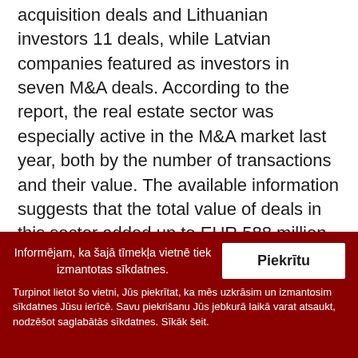acquisition deals and Lithuanian investors 11 deals, while Latvian companies featured as investors in seven M&A deals. According to the report, the real estate sector was especially active in the M&A market last year, both by the number of transactions and their value. The available information suggests that the total value of deals in this sector added up to EUR 588 million, making up 82% of the total value of Baltic M&A transactions on which information has been made public. The sector of industrial and commercial services also continued to assert its significance, accounting for 22% percent of all M&A
Informējam, ka šajā tīmekļa vietnē tiek izmantotas sīkdatnes.
Turpinot lietot šo vietni, Jūs piekrītat, ka mēs uzkrāsim un izmantosim sīkdatnes Jūsu ierīcē. Savu piekrišanu Jūs jebkurā laikā varat atsaukt, nodzēšot saglabātās sīkdatnes. Sīkāk šeit.